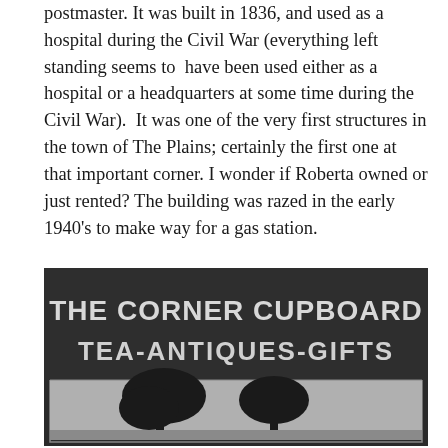postmaster. It was built in 1836, and used as a hospital during the Civil War (everything left standing seems to have been used either as a hospital or a headquarters at some time during the Civil War). It was one of the very first structures in the town of The Plains; certainly the first one at that important corner. I wonder if Roberta owned or just rented? The building was razed in the early 1940's to make way for a gas station.
[Figure (photo): Black and white photograph of a sign reading 'THE CORNER CUPBOARD TEA-ANTIQUES-GIFTS' with a decorative illustration of trees below the text.]